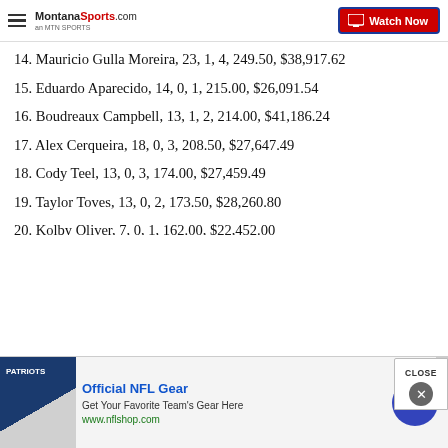MontanaSports.com | Watch Now
14. Mauricio Gulla Moreira, 23, 1, 4, 249.50, $38,917.62
15. Eduardo Aparecido, 14, 0, 1, 215.00, $26,091.54
16. Boudreaux Campbell, 13, 1, 2, 214.00, $41,186.24
17. Alex Cerqueira, 18, 0, 3, 208.50, $27,647.49
18. Cody Teel, 13, 0, 3, 174.00, $27,459.49
19. Taylor Toves, 13, 0, 2, 173.50, $28,260.80
20. Kolby Oliver, 7, 0, 1, 162.00, $22,452.00
[Figure (screenshot): Advertisement banner for Official NFL Gear with NFL shop image and watch now button]